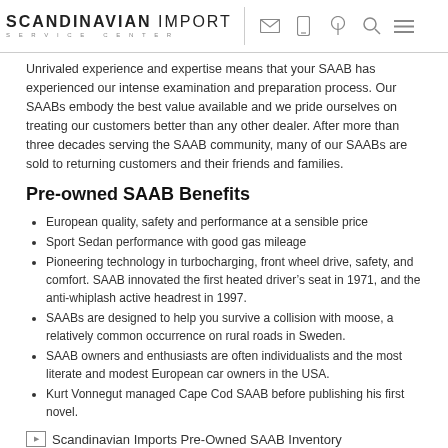Scandinavian Import Service Center
Unrivaled experience and expertise means that your SAAB has experienced our intense examination and preparation process. Our SAABs embody the best value available and we pride ourselves on treating our customers better than any other dealer. After more than three decades serving the SAAB community, many of our SAABs are sold to returning customers and their friends and families.
Pre-owned SAAB Benefits
European quality, safety and performance at a sensible price
Sport Sedan performance with good gas mileage
Pioneering technology in turbocharging, front wheel drive, safety, and comfort. SAAB innovated the first heated driver's seat in 1971, and the anti-whiplash active headrest in 1997.
SAABs are designed to help you survive a collision with moose, a relatively common occurrence on rural roads in Sweden.
SAAB owners and enthusiasts are often individualists and the most literate and modest European car owners in the USA.
Kurt Vonnegut managed Cape Cod SAAB before publishing his first novel.
[Figure (other): Scandinavian Imports Pre-Owned SAAB Inventory image placeholder]